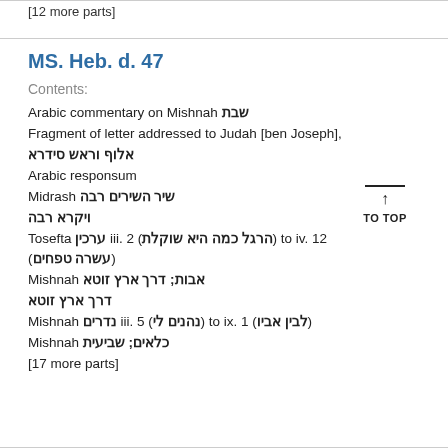[12 more parts]
MS. Heb. d. 47
Contents:
Arabic commentary on Mishnah שבת
Fragment of letter addressed to Judah [ben Joseph], אלוף וראש סידרא
Arabic responsum
Midrash שיר השירים רבה
ויקרא רבה
Tosefta ערכין iii. 2 (הרגל כמה היא שוקלת) to iv. 12 (עשרה טפחים)
Mishnah אבות; דרך ארץ זוטא
דרך ארץ זוטא
Mishnah נדרים iii. 5 (נהנים לי) to ix. 1 (לבין אביו)
Mishnah כלאים; שביעית
[17 more parts]